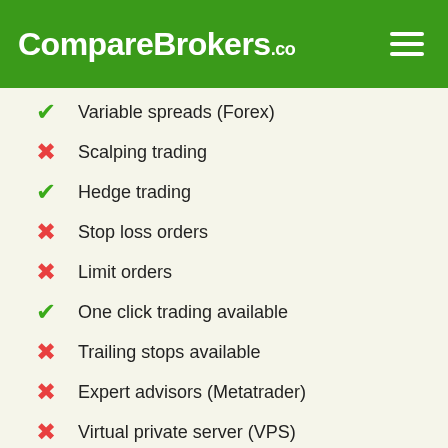CompareBrokers.co
Variable spreads (Forex)
Scalping trading
Hedge trading
Stop loss orders
Limit orders
One click trading available
Trailing stops available
Expert advisors (Metatrader)
Virtual private server (VPS)
Direct market access (DMA)
ECN broker (Forex ECNs)
STP broker (STP)